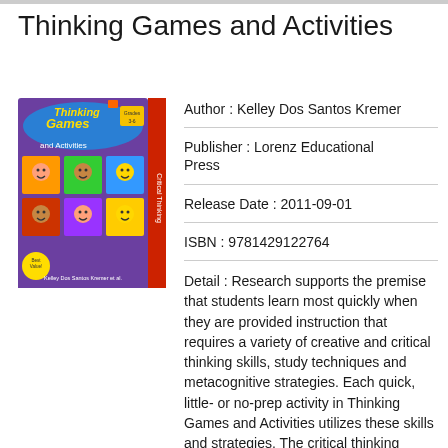Thinking Games and Activities
[Figure (illustration): Book cover of 'Thinking Games and Activities' by Kelley Dos Santos Kremer, published by Lorenz Educational Press. Colorful cover with cartoon children in grid panels, purple background, 'Critical Thinking' text on spine, Grades 3-6.]
Author : Kelley Dos Santos Kremer
Publisher : Lorenz Educational Press
Release Date : 2011-09-01
ISBN : 9781429122764
Detail : Research supports the premise that students learn most quickly when they are provided instruction that requires a variety of creative and critical thinking skills, study techniques and metacognitive strategies. Each quick, little- or no-prep activity in Thinking Games and Activities utilizes these skills and strategies. The critical thinking games and activities can be used as individual assignments or as class tasks, or they can be used as competitions